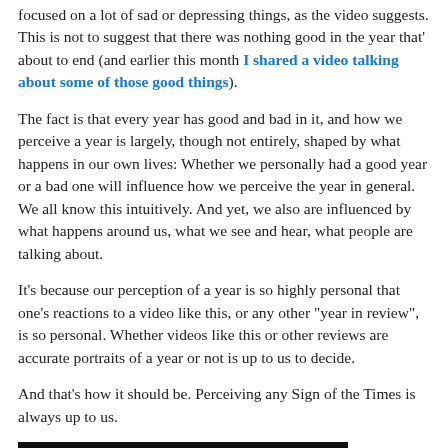focused on a lot of sad or depressing things, as the video suggests. This is not to suggest that there was nothing good in the year that' about to end (and earlier this month I shared a video talking about some of those good things).
The fact is that every year has good and bad in it, and how we perceive a year is largely, though not entirely, shaped by what happens in our own lives: Whether we personally had a good year or a bad one will influence how we perceive the year in general. We all know this intuitively. And yet, we also are influenced by what happens around us, what we see and hear, what people are talking about.
It's because our perception of a year is so highly personal that one's reactions to a video like this, or any other "year in review", is so personal. Whether videos like this or other reviews are accurate portraits of a year or not is up to us to decide.
And that's how it should be. Perceiving any Sign of the Times is always up to us.
[Figure (photo): Black bar at the bottom of the page, partial image visible]